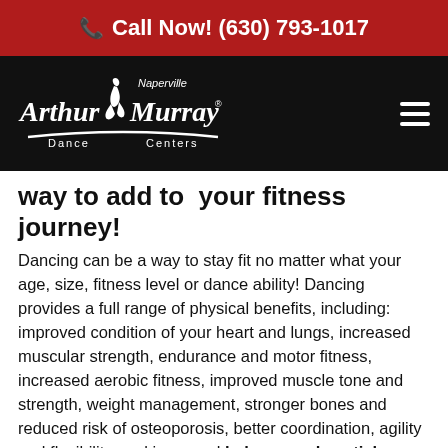Call Now! (630) 793-1017
[Figure (logo): Arthur Murray Dance Centers Naperville logo in white on black background]
way to add to your fitness journey!
Dancing can be a way to stay fit no matter what your age, size, fitness level or dance ability! Dancing provides a full range of physical benefits, including: improved condition of your heart and lungs, increased muscular strength, endurance and motor fitness, increased aerobic fitness, improved muscle tone and strength, weight management, stronger bones and reduced risk of osteoporosis, better coordination, agility and flexibility, and improved balance and spatial awareness!